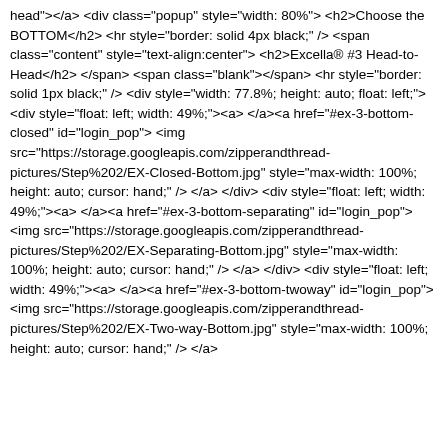head"></a> <div class="popup" style="width: 80%"> <h2>Choose the BOTTOM</h2> <hr style="border: solid 4px black;" /> <span class="content" style="text-align:center"> <h2>Excella® #3 Head-to-Head</h2> </span> <span class="blank"></span> <hr style="border: solid 1px black;" /> <div style="width: 77.8%; height: auto; float: left;"> <div style="float: left; width: 49%;"><a> </a><a href="#ex-3-bottom-closed" id="login_pop"> <img src="https://storage.googleapis.com/zipperandthread-pictures/Step%202/EX-Closed-Bottom.jpg" style="max-width: 100%; height: auto; cursor: hand;" onclick="img1.style.visibility='hidden';img2.style.visibility='visible" /> </a> </div> <div style="float: left; width: 49%;"><a> </a><a href="#ex-3-bottom-separating" id="login_pop"> <img src="https://storage.googleapis.com/zipperandthread-pictures/Step%202/EX-Separating-Bottom.jpg" style="max-width: 100%; height: auto; cursor: hand;" onclick="img1.style.visibility='hidden';img2.style.visibility='visible" /> </a> </div> <div style="float: left; width: 49%;"><a> </a><a href="#ex-3-bottom-twoway" id="login_pop"> <img src="https://storage.googleapis.com/zipperandthread-pictures/Step%202/EX-Two-way-Bottom.jpg" style="max-width: 100%; height: auto; cursor: hand;" onclick="img1.style.visibility='hidden';img2.style.visibility='visible" /> </a>